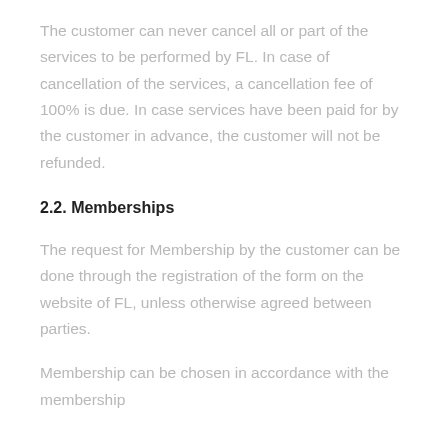The customer can never cancel all or part of the services to be performed by FL. In case of cancellation of the services, a cancellation fee of 100% is due. In case services have been paid for by the customer in advance, the customer will not be refunded.
2.2. Memberships
The request for Membership by the customer can be done through the registration of the form on the website of FL, unless otherwise agreed between parties.
Membership can be chosen in accordance with the membership